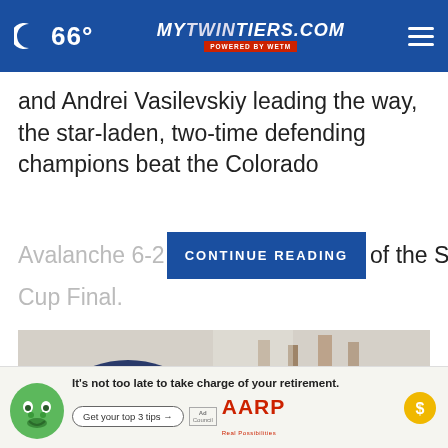66° mytwintiers.com
and Andrei Vasilevskiy leading the way, the star-laden, two-time defending champions beat the Colorado Avalanche 6-2 [CONTINUE READING] of the Stanley Cup Final
[Figure (photo): Pile of junk and miscellaneous items including furniture, fabric, wooden objects, and various debris outdoors]
It's not too late to take charge of your retirement. Get your top 3 tips → Ad Council AARP Real Possibilities